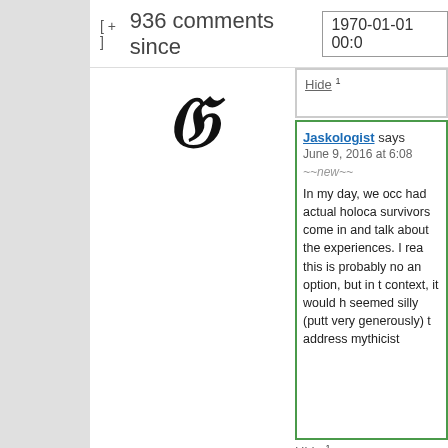[ + ] 936 comments since 1970-01-01 00:0
Hide 1
[Figure (illustration): Decorative blackletter capital letter J]
Jaskologist says
June 9, 2016 at 6:08
~~new~~
In my day, we occ had actual holoca survivors come in and talk about the experiences. I rea this is probably no an option, but in t context, it would h seemed silly (putt very generously) t address mythicist
Hide 1